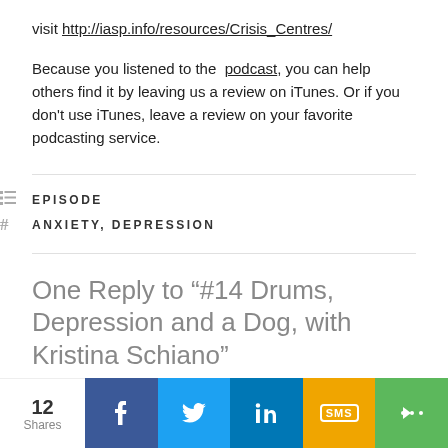visit http://iasp.info/resources/Crisis_Centres/
Because you listened to the podcast, you can help others find it by leaving us a review on iTunes. Or if you don't use iTunes, leave a review on your favorite podcasting service.
EPISODE
ANXIETY, DEPRESSION
One Reply to “#14 Drums, Depression and a Dog, with Kristina Schiano”
12 Shares